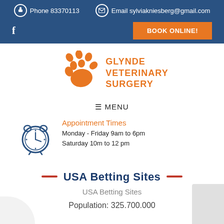Phone 83370113   Email sylviakniesberg@gmail.com
f   BOOK ONLINE!
[Figure (logo): Glynde Veterinary Surgery logo with orange paw prints and text]
≡ MENU
[Figure (illustration): Blue alarm clock icon]
Appointment Times
Monday - Friday 9am to 6pm
Saturday 10m to 12 pm
USA Betting Sites
USA Betting Sites
Population: 325.700.000